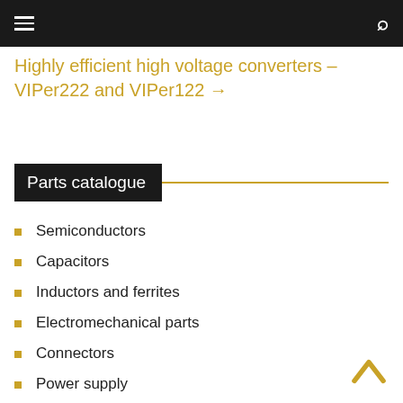≡  🔍
Highly efficient high voltage converters – VIPer222 and VIPer122 →
Parts catalogue
Semiconductors
Capacitors
Inductors and ferrites
Electromechanical parts
Connectors
Power supply
Crystals
Optoelectronics